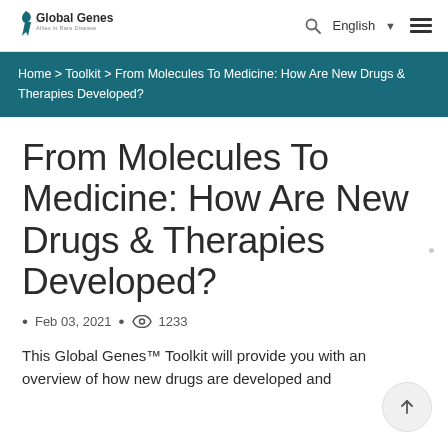Global Genes® — Allies in Rare Disease | English | Navigation
Home > Toolkit > From Molecules To Medicine: How Are New Drugs & Therapies Developed?
From Molecules To Medicine: How Are New Drugs & Therapies Developed?
• Feb 03, 2021 • 👁 1233
This Global Genes™ Toolkit will provide you with an overview of how new drugs are developed and